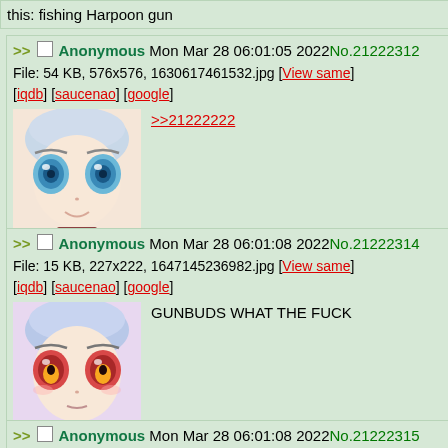this: fishing Harpoon gun
>> Anonymous Mon Mar 28 06:01:05 2022 No.21222312
File: 54 KB, 576x576, 1630617461532.jpg [View same] [iqdb] [saucenao] [google]
>>21222222
[Figure (illustration): Anime character close-up with large blue eyes and slight smile]
>> Anonymous Mon Mar 28 06:01:08 2022 No.21222314
File: 15 KB, 227x222, 1647145236982.jpg [View same] [iqdb] [saucenao] [google]
GUNBUDS WHAT THE FUCK
[Figure (illustration): Anime character close-up with large reddish-orange eyes]
>> Anonymous Mon Mar 28 06:01:08 2022 No.21222315
File: 1.40 MB, 480x480, Cat Dancing (REAL)